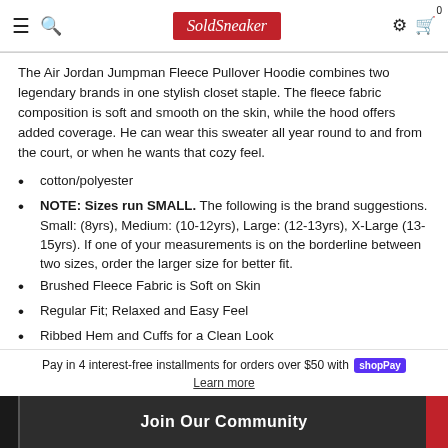SoldSneaker
The Air Jordan Jumpman Fleece Pullover Hoodie combines two legendary brands in one stylish closet staple. The fleece fabric composition is soft and smooth on the skin, while the hood offers added coverage. He can wear this sweater all year round to and from the court, or when he wants that cozy feel.
cotton/polyester
NOTE: Sizes run SMALL. The following is the brand suggestions. Small: (8yrs), Medium: (10-12yrs), Large: (12-13yrs), X-Large (13-15yrs). If one of your measurements is on the borderline between two sizes, order the larger size for better fit.
Brushed Fleece Fabric is Soft on Skin
Regular Fit; Relaxed and Easy Feel
Ribbed Hem and Cuffs for a Clean Look
Fabric: 80% Cotton, 20% Polyester
Pay in 4 interest-free installments for orders over $50 with shop Pay. Learn more. Join Our Community